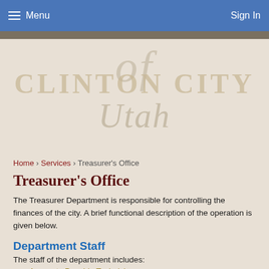Menu   Sign In
[Figure (logo): Clinton City Utah logo with large watermark text overlay on beige background]
Home › Services › Treasurer's Office
Treasurer's Office
The Treasurer Department is responsible for controlling the finances of the city. A brief functional description of the operation is given below.
Department Staff
The staff of the department includes:
Accounts Payable Technician